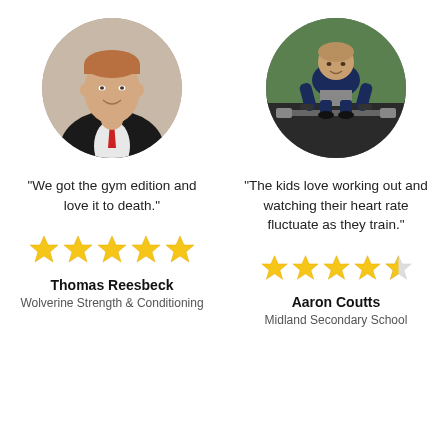[Figure (photo): Circular headshot of Thomas Reesbeck, a young man in a suit with a red tie, smiling]
"We got the gym edition and love it to death."
[Figure (illustration): Five gold stars rating]
Thomas Reesbeck
Wolverine Strength & Conditioning
[Figure (photo): Circular photo of Aaron Coutts, a man in athletic wear doing a deadlift on a track]
"The kids love working out and watching their heart rate fluctuate as they train."
[Figure (illustration): Four and a half gold stars rating]
Aaron Coutts
Midland Secondary School